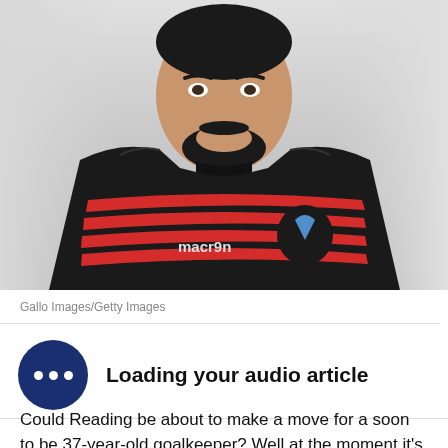[Figure (photo): A man in a black and red striped Crystal Palace macron goalkeeper/training jersey, with beard, photographed from the torso up against a blurred light background.]
Gallo Images/Getty Images
[Figure (infographic): Audio article loading indicator: dark navy blue circle with three white dots, followed by bold text 'Loading your audio article']
Could Reading be about to make a move for a soon to be 37-year-old goalkeeper? Well at the moment it's only a throwaway line from the Daily Mirror but hey let's put our investigatory hat on to see if this makes